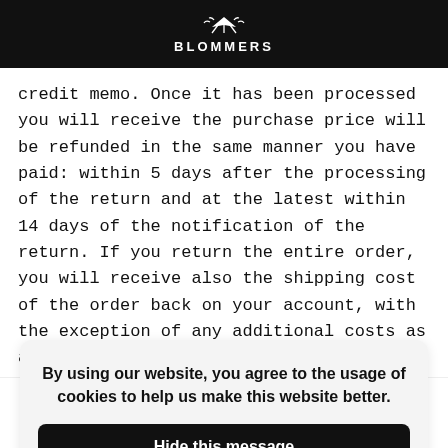BLOMMERS
credit memo. Once it has been processed you will receive the purchase price will be refunded in the same manner you have paid: within 5 days after the processing of the return and at the latest within 14 days of the notification of the return. If you return the entire order, you will receive also the shipping cost of the order back on your account, with the exception of any additional costs as a result of your choice for a type of delivery other than the least expensive type of standard delivery provided by us. The costs of returning any goods
By using our website, you agree to the usage of cookies to help us make this website better.
Hide this message
More on cookies »